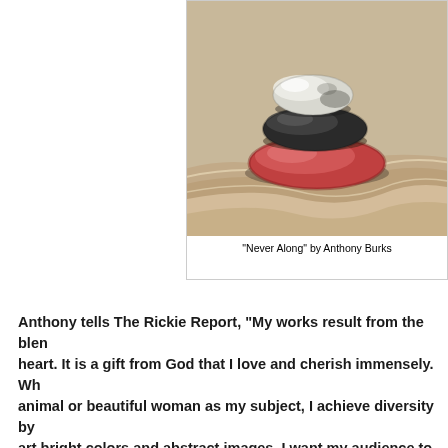[Figure (photo): Stacked zen stones or pebbles — white stone on top, dark grey stone in middle, red/pink stone at bottom — resting on layered wavy sandy surface. Artwork titled 'Never Along' by Anthony Burks.]
“Never Along” by Anthony Burks
Anthony tells The Rickie Report, “My works result from the blen... heart. It is a gift from God that I love and cherish immensely. Wh... animal or beautiful woman as my subject, I achieve diversity by... art bright colors and abstract images. I want my audience to be... work as I am in creating it. Change is a challenge for many artis... to embrace it. I am constantly inspired by the artists that I ment... I curate. My artwork evolves as I create new collections that tell...